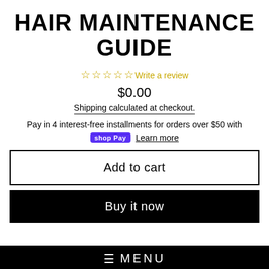HAIR MAINTENANCE GUIDE
☆☆☆☆☆ Write a review
$0.00
Shipping calculated at checkout.
Pay in 4 interest-free installments for orders over $50 with
shopPay Learn more
Add to cart
Buy it now
≡ MENU